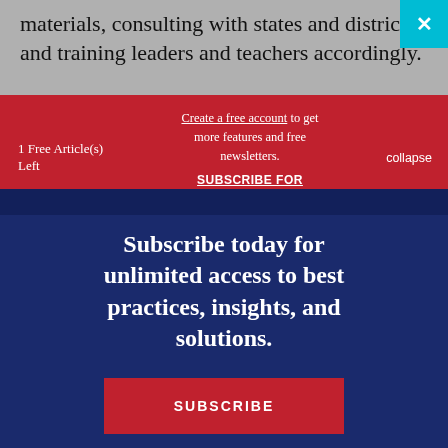materials, consulting with states and districts, and training leaders and teachers accordingly.
1 Free Article(s) Left
Create a free account to get more features and free newsletters.
SUBSCRIBE FOR UNLIMITED ACCESS
collapse
Subscribe today for unlimited access to best practices, insights, and solutions.
SUBSCRIBE